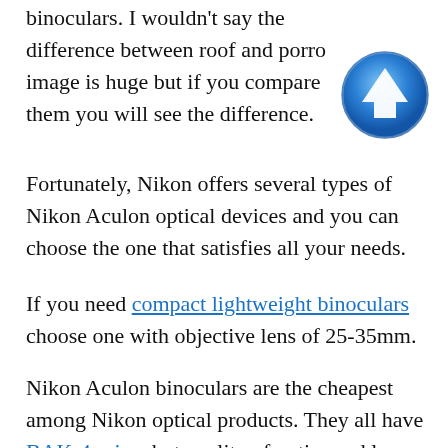binoculars. I wouldn't say the difference between roof and porro image is huge but if you compare them you will see the difference.
[Figure (illustration): Blue circular scroll-up arrow icon button]
Fortunately, Nikon offers several types of Nikon Aculon optical devices and you can choose the one that satisfies all your needs.
If you need compact lightweight binoculars choose one with objective lens of 25-35mm.
Nikon Aculon binoculars are the cheapest among Nikon optical products. They all have BAK-4 prism but quality of optics and lens coating is not the best Nikon can deliver.
In fact, Aculon is a cheap class binoculars. But cheap class doesn't mean image quality is bad. It's not like Chinese binoculars from unknown manufacturers.